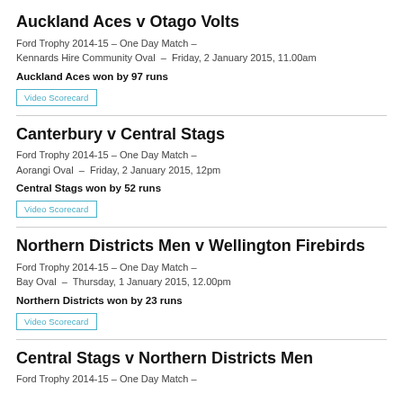Auckland Aces v Otago Volts
Ford Trophy 2014-15 – One Day Match –
Kennards Hire Community Oval  –  Friday, 2 January 2015, 11.00am
Auckland Aces won by 97 runs
Video Scorecard
Canterbury v Central Stags
Ford Trophy 2014-15 – One Day Match –
Aorangi Oval  –  Friday, 2 January 2015, 12pm
Central Stags won by 52 runs
Video Scorecard
Northern Districts Men v Wellington Firebirds
Ford Trophy 2014-15 – One Day Match –
Bay Oval  –  Thursday, 1 January 2015, 12.00pm
Northern Districts won by 23 runs
Video Scorecard
Central Stags v Northern Districts Men
Ford Trophy 2014-15 – One Day Match –